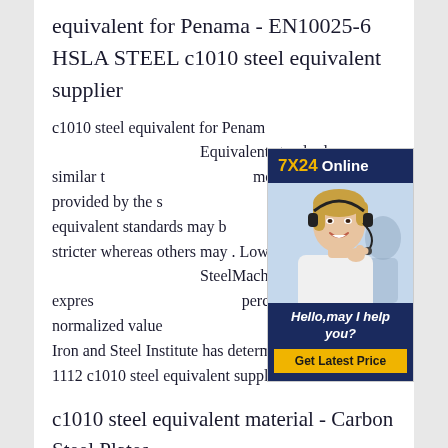equivalent for Penama - EN10025-6 HSLA STEEL c1010 steel equivalent supplier
c1010 steel equivalent for Penama. Equivalent standards are similar to one or more standards provided by the supplier. Some equivalent standards may be stricter whereas others may . Low SteelMachinability can be expressed as a percentage or a normalized value. The American Iron and Steel Institute (AISI) has determined AISI No. 1112 c1010 steel equivalent supplier
[Figure (infographic): 7X24 Online customer service ad widget with photo of woman wearing headset, tagline 'Hello, may I help you?' and 'Get Latest Price' button on dark navy background]
c1010 steel equivalent material - Carbon Steel Plates